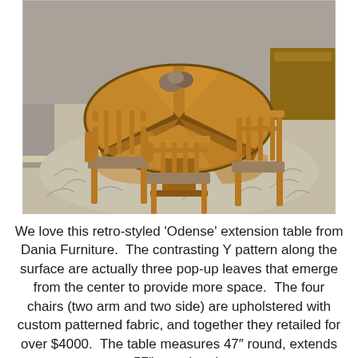[Figure (photo): Mid-century modern round extension dining table (Odense by Dania Furniture) in warm walnut/teak wood with a Y-pattern top, surrounded by four wooden chairs with upholstered seats, placed on a patterned rug in a showroom setting.]
We love this retro-styled 'Odense' extension table from Dania Furniture.  The contrasting Y pattern along the surface are actually three pop-up leaves that emerge from the center to provide more space.  The four chairs (two arm and two side) are upholstered with custom patterned fabric, and together they retailed for over $4000.  The table measures 47″ round, extends to 57″ round and we